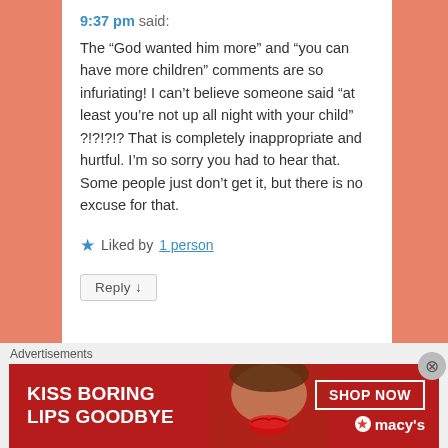9:37 pm said:
The “God wanted him more” and “you can have more children” comments are so infuriating! I can’t believe someone said “at least you’re not up all night with your child” ?!?!?!? That is completely inappropriate and hurtful. I’m so sorry you had to hear that. Some people just don’t get it, but there is no excuse for that.
★ Liked by 1 person
Reply ↓
Advertisements
[Figure (photo): Red Macy’s advertisement banner reading KISS BORING LIPS GOODBYE with a SHOP NOW button and Macy’s star logo, showing a woman’s face with red lipstick.]